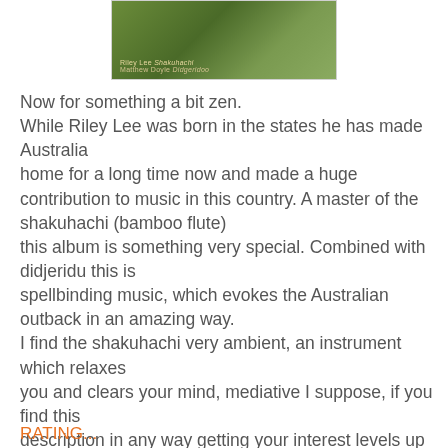[Figure (photo): Album cover image showing Riley Lee Shakuhachi and Matthew Doyle Didgeridoo, with green foliage background]
Now for something a bit zen.
While Riley Lee was born in the states he has made Australia
home for a long time now and made a huge contribution to music in this country. A master of the shakuhachi (bamboo flute)
this album is something very special. Combined with didjeridu this is
spellbinding music, which evokes the Australian outback in an amazing way.
I find the shakuhachi very ambient, an instrument which relaxes
you and clears your mind, mediative I suppose, if you find this
description in any way getting your interest levels up I'd recommend you grab it
I'm sure I saw Riley play a few times back in the Maleny folk festival days and he didn't disappoint.
RATING...